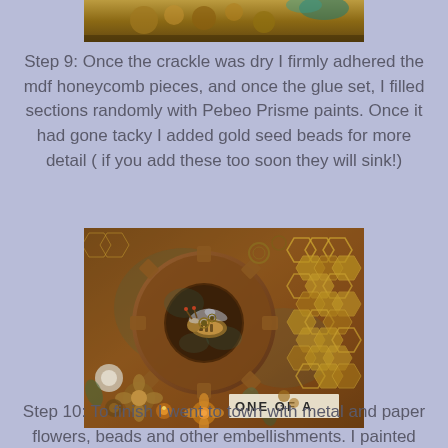[Figure (photo): Partial top edge of a craft/mixed media artwork showing textured floral and decorative elements in warm golden and teal tones]
Step 9: Once the crackle was dry I firmly adhered the mdf honeycomb pieces, and once the glue set, I filled sections randomly with Pebeo Prisme paints. Once it had gone tacky I added gold seed beads for more detail ( if you add these too soon they will sink!)
[Figure (photo): Close-up photo of a steampunk mixed media craft artwork featuring a metal bee charm with gears, mounted on a large gear/cog shape with honeycomb textures, paper flowers, and the text 'ONE OF A' visible on a label strip]
Step 10: To finish I went to town with metal and paper flowers, beads and other embellishments. I painted the